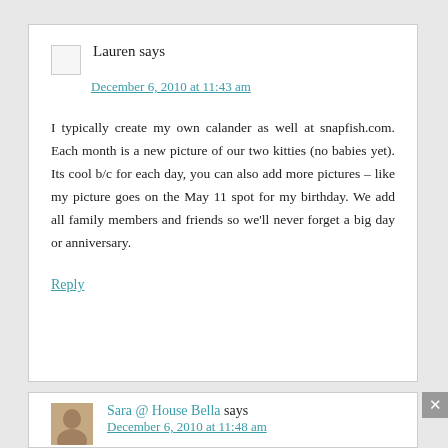Lauren says
December 6, 2010 at 11:43 am
I typically create my own calander as well at snapfish.com. Each month is a new picture of our two kitties (no babies yet). Its cool b/c for each day, you can also add more pictures – like my picture goes on the May 11 spot for my birthday. We add all family members and friends so we'll never forget a big day or anniversary.
Reply
Sara @ House Bella says
December 6, 2010 at 11:48 am